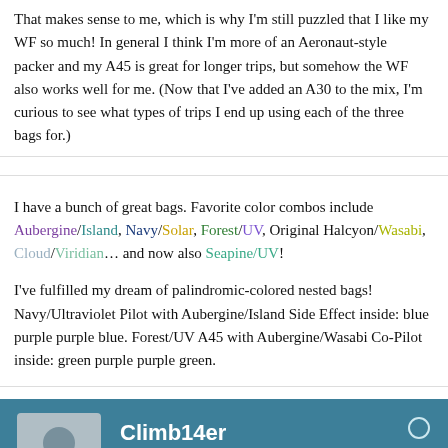That makes sense to me, which is why I'm still puzzled that I like my WF so much! In general I think I'm more of an Aeronaut-style packer and my A45 is great for longer trips, but somehow the WF also works well for me. (Now that I've added an A30 to the mix, I'm curious to see what types of trips I end up using each of the three bags for.)
I have a bunch of great bags. Favorite color combos include Aubergine/Island, Navy/Solar, Forest/UV, Original Halcyon/Wasabi, Cloud/Viridian... and now also Seapine/UV!
I've fulfilled my dream of palindromic-colored nested bags! Navy/Ultraviolet Pilot with Aubergine/Island Side Effect inside: blue purple purple blue. Forest/UV A45 with Aubergine/Wasabi Co-Pilot inside: green purple purple green.
Climb14er
Forum Member
Join Date: Jan 2009    Posts: 97